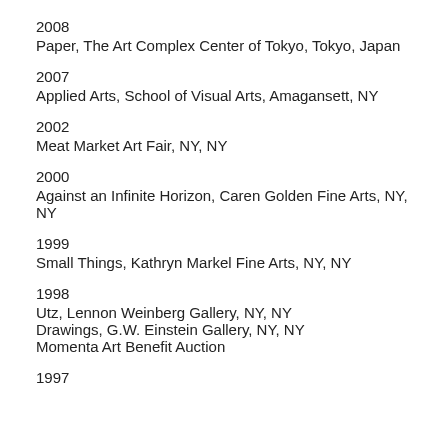2008
Paper, The Art Complex Center of Tokyo, Tokyo, Japan
2007
Applied Arts, School of Visual Arts, Amagansett, NY
2002
Meat Market Art Fair, NY, NY
2000
Against an Infinite Horizon, Caren Golden Fine Arts, NY, NY
1999
Small Things, Kathryn Markel Fine Arts, NY, NY
1998
Utz, Lennon Weinberg Gallery, NY, NY
Drawings, G.W. Einstein Gallery, NY, NY
Momenta Art Benefit Auction
1997